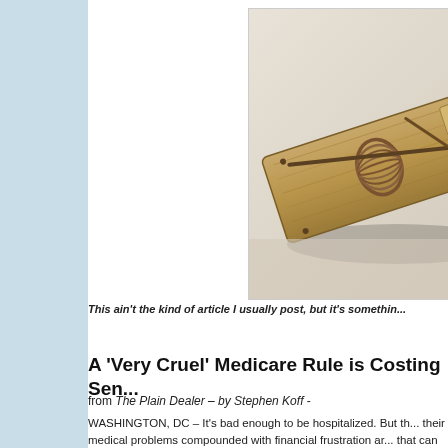[Figure (photo): Close-up photograph of a wooden mousetrap with a spring mechanism, partially baited]
This ain't the kind of article I usually post, but it's somethin...
A 'Very Cruel' Medicare Rule is Costing Sen...
from The Plain Dealer – by Stephen Koff -
WASHINGTON, DC – It's bad enough to be hospitalized. But their medical problems compounded with financial frustration ar... that can cost them dearly.